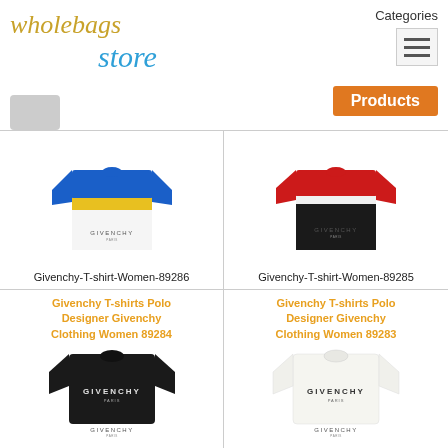[Figure (logo): Wholebags Store logo with tan/gold wholebags text, blue store text, and gray bag icon]
Categories
Products
[Figure (photo): Givenchy T-shirt in blue, yellow, and white colorblock design]
Givenchy-T-shirt-Women-89286
[Figure (photo): Givenchy T-shirt in red and black colorblock design]
Givenchy-T-shirt-Women-89285
Givenchy T-shirts Polo Designer Givenchy Clothing Women 89284
[Figure (photo): Black Givenchy T-shirt with GIVENCHY PARIS text print]
Givenchy T-shirts Polo Designer Givenchy Clothing Women 89283
[Figure (photo): White Givenchy T-shirt with GIVENCHY PARIS text print]